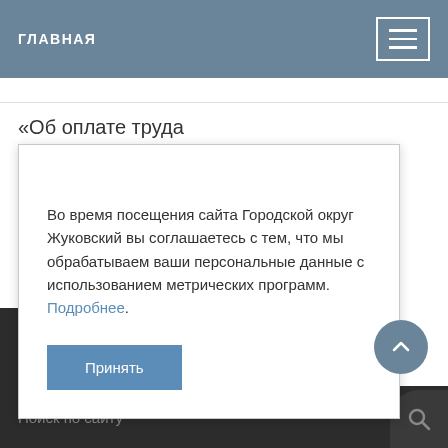ГЛАВНАЯ
«Об оплате труда
Во время посещения сайта Городской округ Жуковский вы соглашаетесь с тем, что мы обрабатываем ваши персональные данные с использованием метрических программ. Подробнее.
Принять
Поиск по сайту